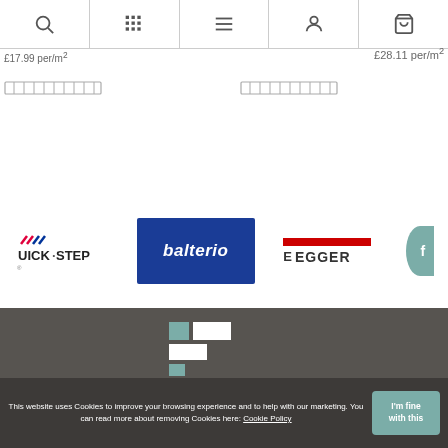Navigation bar with search, grid, menu, account, and cart icons
£17.99 per/m²
£28.11 per/m²
[Figure (other): Two ruler measurement icons]
[Figure (logo): Quick-Step logo, Balterio logo, Egger logo, and partial fourth brand logo]
[Figure (logo): Flooring website logo in white/teal on dark footer]
[Figure (other): Social media icons: LinkedIn, Facebook, Twitter, Instagram]
This website uses Cookies to improve your browsing experience and to help with our marketing. You can read more about removing Cookies here: Cookie Policy